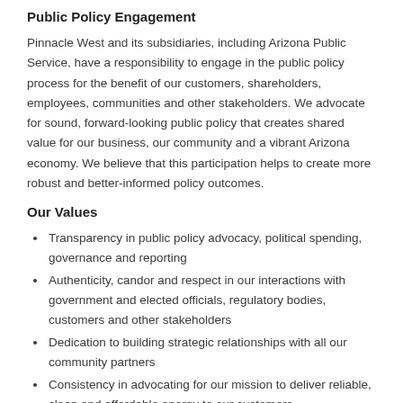Public Policy Engagement
Pinnacle West and its subsidiaries, including Arizona Public Service, have a responsibility to engage in the public policy process for the benefit of our customers, shareholders, employees, communities and other stakeholders. We advocate for sound, forward-looking public policy that creates shared value for our business, our community and a vibrant Arizona economy. We believe that this participation helps to create more robust and better-informed policy outcomes.
Our Values
Transparency in public policy advocacy, political spending, governance and reporting
Authenticity, candor and respect in our interactions with government and elected officials, regulatory bodies, customers and other stakeholders
Dedication to building strategic relationships with all our community partners
Consistency in advocating for our mission to deliver reliable, clean and affordable energy to our customers